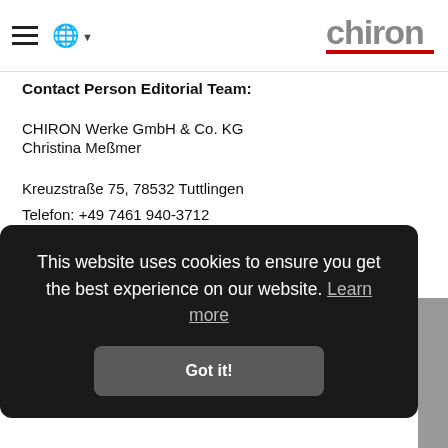CHIRON
Contact Person Editorial Team:
CHIRON Werke GmbH & Co. KG
Christina Meßmer
Kreuzstraße 75, 78532 Tuttlingen
Telefon: +49 7461 940-3712
E-Mail: christina.messmer@chiron-group.com
This website uses cookies to ensure you get the best experience on our website. Learn more
Got it!